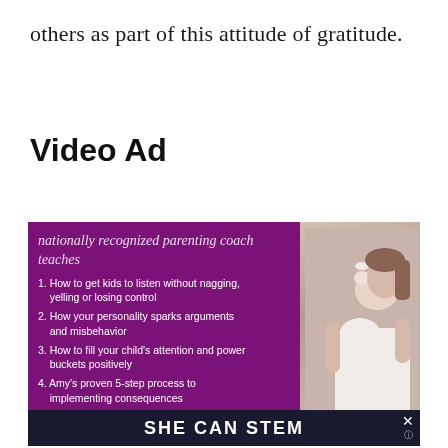others as part of this attitude of gratitude.
Video Ad
[Figure (infographic): A purple advertisement card for a nationally recognized parenting coach showing a list of 4 teaching points and a photo of a woman holding a baby, with a 'SHE CAN STEM' banner at the bottom.]